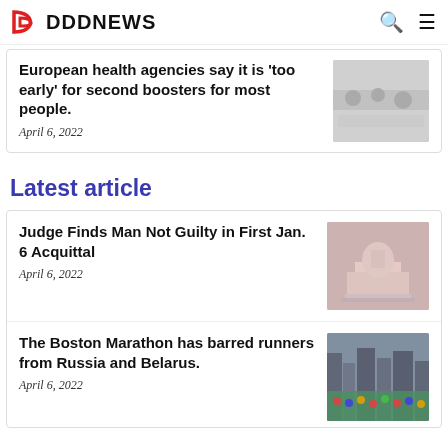DDDNEWS
European health agencies say it is 'too early' for second boosters for most people.
April 6, 2022
Latest article
Judge Finds Man Not Guilty in First Jan. 6 Acquittal
April 6, 2022
The Boston Marathon has barred runners from Russia and Belarus.
April 6, 2022